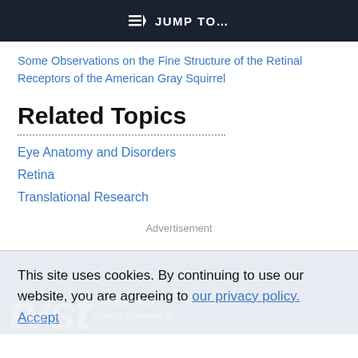JUMP TO...
Some Observations on the Fine Structure of the Retinal Receptors of the American Gray Squirrel
Related Topics
Eye Anatomy and Disorders
Retina
Translational Research
Advertisement
This site uses cookies. By continuing to use our website, you are agreeing to our privacy policy. Accept